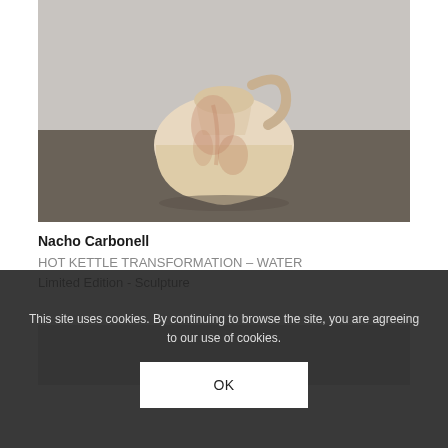[Figure (photo): A ceramic or alabaster kettle/jug sculpture with organic, worn texture in cream and rust tones, photographed against a dark gray background. The piece is a kettle-like form with a handle visible at top.]
Nacho Carbonell
HOT KETTLE TRANSFORMATION – WATER
Limited Edition - Sculpture
[Figure (photo): Partial view of another artwork image, largely obscured by cookie consent overlay.]
This site uses cookies. By continuing to browse the site, you are agreeing to our use of cookies.
OK